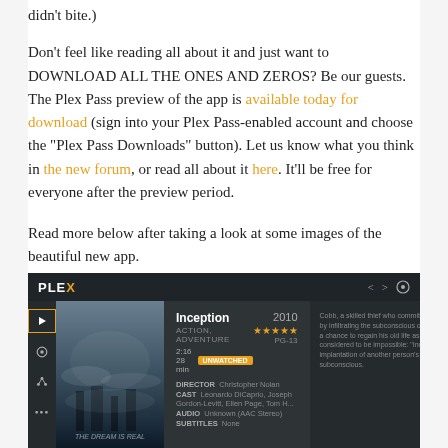didn't bite.)
Don't feel like reading all about it and just want to DOWNLOAD ALL THE ONES AND ZEROS? Be our guests. The Plex Pass preview of the app is available today for download (sign into your Plex Pass-enabled account and choose the "Plex Pass Downloads" button). Let us know what you think in the new forum, or read all about it here. It'll be free for everyone after the preview period.
Read more below after taking a look at some images of the beautiful new app.
[Figure (screenshot): Screenshot of the Plex media player app showing the movie Inception (2010) with ACTION, ADVENTURE genre, 4.5 star rating, duration, an UNWATCHED badge, director Christopher Nolan, cast including Leonardo DiCaprio, Joseph Gordon-Levitt, Ellen Page, Tom H., audio and subtitles info, and a movie description. Dark UI with sidebar icons.]